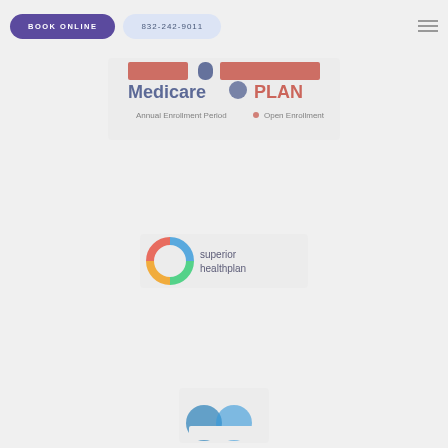[Figure (screenshot): Navigation bar with 'BOOK ONLINE' purple pill button, '832-242-9011' light blue pill button, and hamburger menu icon on right]
[Figure (logo): Medicare plan logo - blurred colorful logo with red, blue, and white text reading 'Medicare PLAN' with subtitle text]
[Figure (logo): Superior HealthPlan logo with colorful circle icon and dark text 'superior healthplan']
[Figure (logo): Partial logo visible at bottom of page, appears to be a blue multi-part logo]